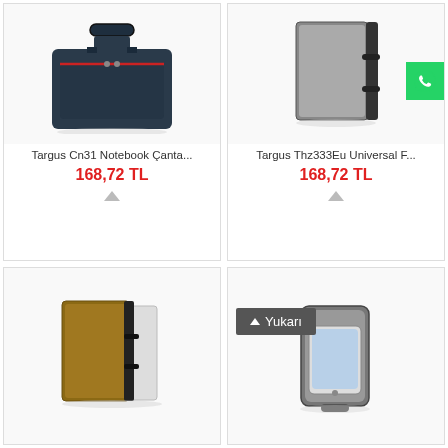[Figure (photo): Targus Cn31 notebook bag - dark navy briefcase with handle and red accent zipper]
Targus Cn31 Notebook Çanta...
168,72 TL
[Figure (photo): Targus Thz333Eu Universal folio/case - gray tablet case standing upright]
Targus Thz333Eu Universal F...
168,72 TL
[Figure (photo): Brown/tan tablet folio case standing upright]
[Figure (photo): Gray/black phone armband holder with smartphone inside]